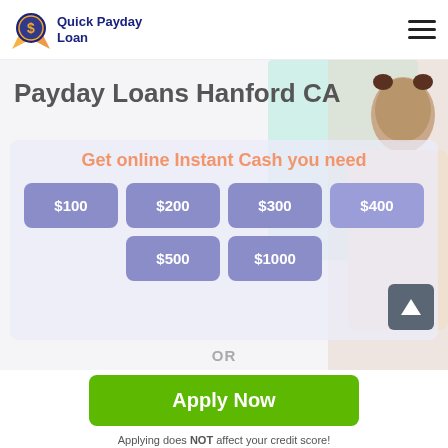[Figure (logo): Quick Payday Loan logo with orange/blue circle icon and text]
Payday Loans Hanford CA
[Figure (photo): Woman looking surprised, teal decorative background block, inner banner with loan amount buttons]
Get online Instant Cash you need
$100
$200
$300
$400
$500
$1000
OR
Apply Now
Applying does NOT affect your credit score!
No credit check to apply.